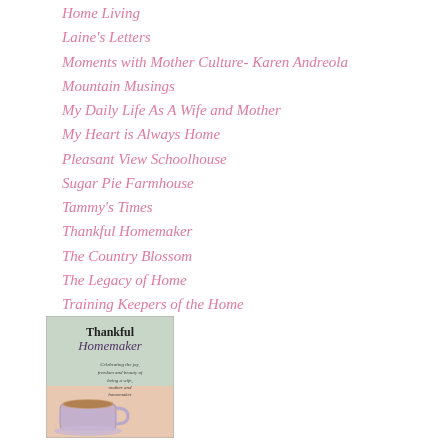Home Living
Laine's Letters
Moments with Mother Culture- Karen Andreola
Mountain Musings
My Daily Life As A Wife and Mother
My Heart is Always Home
Pleasant View Schoolhouse
Sugar Pie Farmhouse
Tammy's Times
Thankful Homemaker
The Country Blossom
The Legacy of Home
Training Keepers of the Home
[Figure (illustration): Thankful Homemaker banner image with a teacup and the text 'Thankful Homemaker - Celebrating the joy, freedom and beauty of being a wife, mother and homemaker']